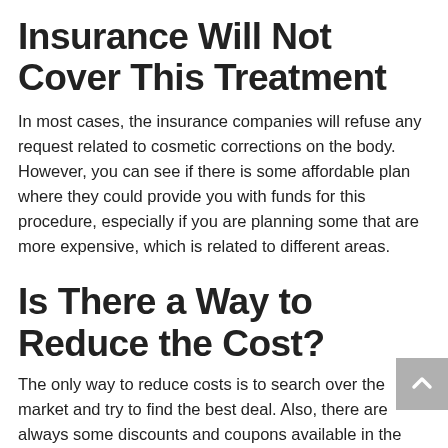Insurance Will Not Cover This Treatment
In most cases, the insurance companies will refuse any request related to cosmetic corrections on the body. However, you can see if there is some affordable plan where they could provide you with funds for this procedure, especially if you are planning some that are more expensive, which is related to different areas.
Is There a Way to Reduce the Cost?
The only way to reduce costs is to search over the market and try to find the best deal. Also, there are always some discounts and coupons available in the cosmetic industry, and some of them might be related